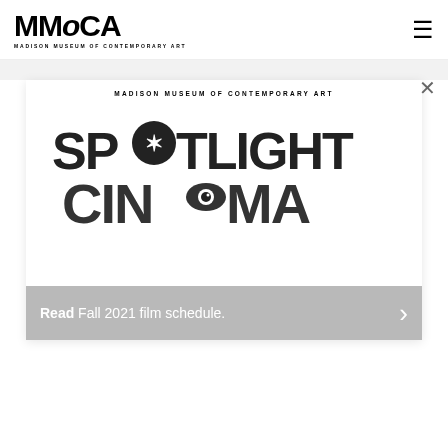MMoCA — MADISON MUSEUM OF CONTEMPORARY ART
[Figure (screenshot): MMoCA website screenshot showing a modal popup with Spotlight Cinema Fall 2021 film schedule promotional image overlaid on a blurred background showing 'Statement from MMoCA Executive Committee of the Board of Trustees' text]
Statement from MMoCA Executive Committee of the Board of Trustees
MADISON MUSEUM OF CONTEMPORARY ART
[Figure (logo): Spotlight Cinema logo with decorative lettering]
Fall 2021 film schedule.
Read Full Statement